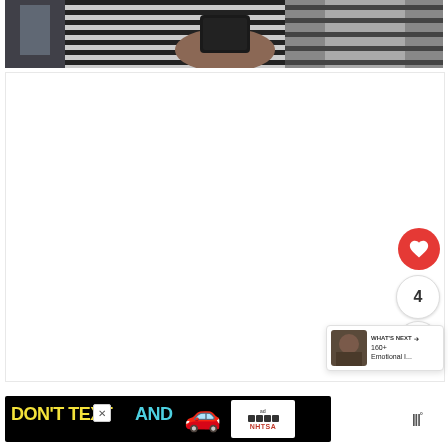[Figure (photo): Person in striped shirt holding a tablet/phone device, cropped view showing torso and hands]
[Figure (other): White content area with like button (red heart circle), count of 4, and share button on the right side]
4
[Figure (other): What's Next card showing a thumbnail and text '160+ Emotional I...' with arrow]
WHAT'S NEXT → 160+ Emotional I...
[Figure (other): Advertisement banner: DON'T TEXT AND [car emoji] with NHTSA branding on black background]